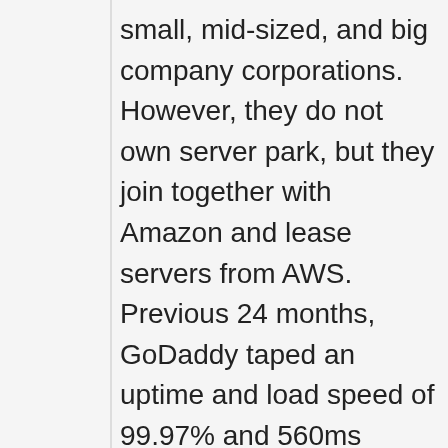small, mid-sized, and big company corporations. However, they do not own server park, but they join together with Amazon and lease servers from AWS. Previous 24 months, GoDaddy taped an uptime and load speed of 99.97% and 560ms respectively: thus, making it a reliable web hosting source.
GoDaddy is simple to use for novices as it comes incorporated with GoCentral website home builder. It also includes developer-friendly tools such as cPanel, Python, CloudLinux, PHP, and MySQL.
They have a cheap plan that opts for a monthly cost of $4.50 and a regular monthly renewal fee of $8.99. For